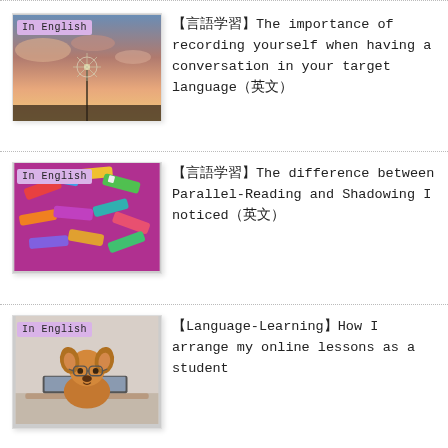[Figure (photo): Dandelion against sunset sky with 'In English' badge]
【言語学習】The importance of recording yourself when having a conversation in your target language（英文）
[Figure (photo): Colorful paint tubes on purple surface with 'In English' badge]
【言語学習】The difference between Parallel-Reading and Shadowing I noticed（英文）
[Figure (photo): Pomeranian dog with glasses at laptop with 'In English' badge]
【Language-Learning】How I arrange my online lessons as a student